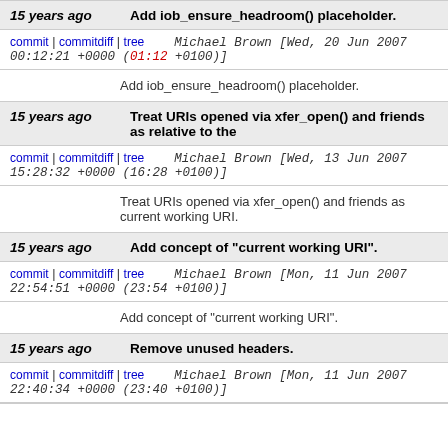15 years ago — Add iob_ensure_headroom() placeholder.
commit | commitdiff | tree   Michael Brown [Wed, 20 Jun 2007 00:12:21 +0000 (01:12 +0100)]
Add iob_ensure_headroom() placeholder.
15 years ago — Treat URIs opened via xfer_open() and friends as relative to the
commit | commitdiff | tree   Michael Brown [Wed, 13 Jun 2007 15:28:32 +0000 (16:28 +0100)]
Treat URIs opened via xfer_open() and friends as current working URI.
15 years ago — Add concept of "current working URI".
commit | commitdiff | tree   Michael Brown [Mon, 11 Jun 2007 22:54:51 +0000 (23:54 +0100)]
Add concept of "current working URI".
15 years ago — Remove unused headers.
commit | commitdiff | tree   Michael Brown [Mon, 11 Jun 2007 22:40:34 +0000 (23:40 +0100)]